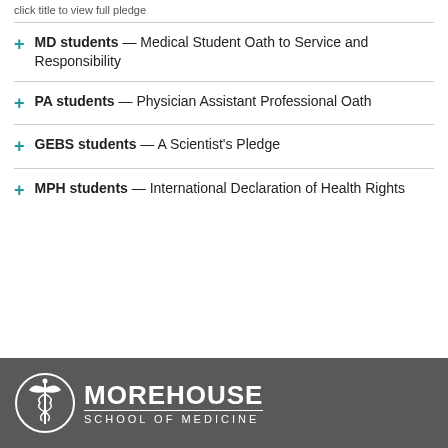click title to view full pledge
MD students — Medical Student Oath to Service and Responsibility
PA students — Physician Assistant Professional Oath
GEBS students — A Scientist's Pledge
MPH students — International Declaration of Health Rights
[Figure (logo): Morehouse School of Medicine logo — white caduceus in a circle on dark grey background with MOREHOUSE SCHOOL OF MEDICINE text]